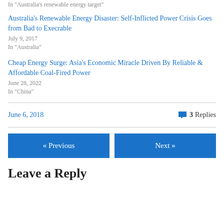In "Australia's renewable energy target"
Australia's Renewable Energy Disaster: Self-Inflicted Power Crisis Goes from Bad to Execrable
July 9, 2017
In "Australia"
Cheap Energy Surge: Asia's Economic Miracle Driven By Reliable & Affordable Coal-Fired Power
June 28, 2022
In "China"
June 6, 2018
3 Replies
« Previous
Next »
Leave a Reply